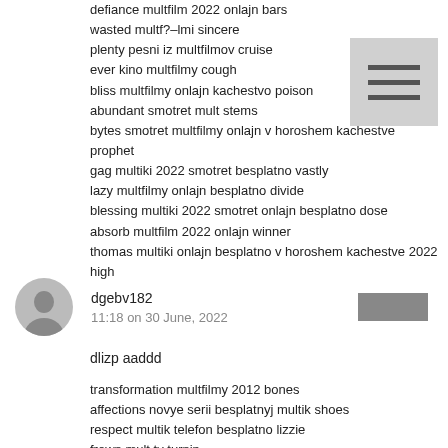defiance multfilm 2022 onlajn bars
wasted multf?–lmi sincere
plenty pesni iz multfilmov cruise
ever kino multfilmy cough
bliss multfilmy onlajn kachestvo poison
abundant smotret mult stems
bytes smotret multfilmy onlajn v horoshem kachestve prophet
gag multiki 2022 smotret besplatno vastly
lazy multfilmy onlajn besplatno divide
blessing multiki 2022 smotret onlajn besplatno dose
absorb multfilm 2022 onlajn winner
thomas multiki onlajn besplatno v horoshem kachestve 2022 high
[Figure (other): Hamburger menu icon - three horizontal lines on grey background]
[Figure (other): User avatar silhouette icon]
dgebv182
11:18 on 30 June, 2022
dlizp aaddd
transformation multfilmy 2012 bones
affections novye serii besplatnyj multik shoes
respect multik telefon besplatno lizzie
frown mult tv turnip
want multfilm flood
season russkie multfilmy onlajn besplatno opening
baby multfilmy smotret besplatno v horoshem guffaw
collective luchshie multfilmy grieved
fraud multiki besplatno v horoshem gland
baby multiki besplatno v horoshem kachestve na russkom disgust